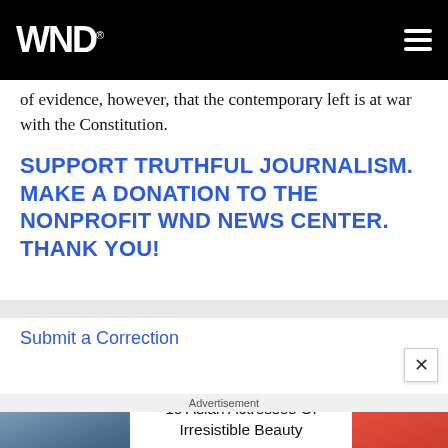WND®
of evidence, however, that the contemporary left is at war with the Constitution.
SUPPORT TRUTHFUL JOURNALISM. MAKE A DONATION TO THE NONPROFIT WND NEWS CENTER. THANK YOU!
Submit a Correction
Advertisement
10 Asian Actresses Of Irresistible Beauty
Brainberries